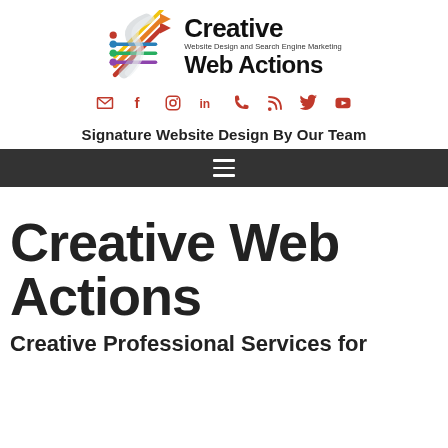[Figure (logo): Creative Web Actions logo with colorful arrows/lines graphic on left and bold text 'Creative Web Actions' with tagline 'Website Design and Search Engine Marketing' on right]
[Figure (infographic): Row of social media icons: email envelope, Facebook f, Instagram camera, LinkedIn in, phone, RSS feed, Twitter bird, YouTube play button — all in red/coral color]
Signature Website Design By Our Team
[Figure (other): Dark navigation bar with hamburger menu icon (three horizontal lines) in white]
Creative Web Actions
Creative Professional Services for